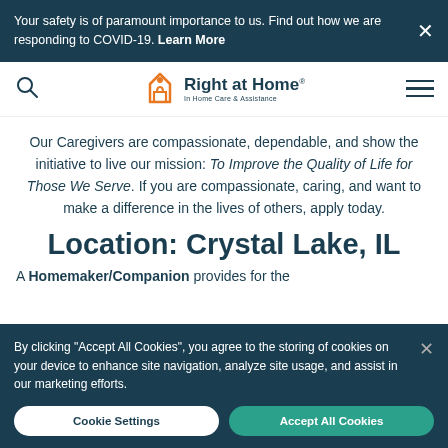Your safety is of paramount importance to us. Find out how we are responding to COVID-19. Learn More
[Figure (logo): Right at Home logo with house icon and tagline 'In Home Care & Assistance']
Our Caregivers are compassionate, dependable, and show the initiative to live our mission: To Improve the Quality of Life for Those We Serve. If you are compassionate, caring, and want to make a difference in the lives of others, apply today.
Location: Crystal Lake, IL
A Homemaker/Companion provides for the
By clicking "Accept All Cookies", you agree to the storing of cookies on your device to enhance site navigation, analyze site usage, and assist in our marketing efforts.